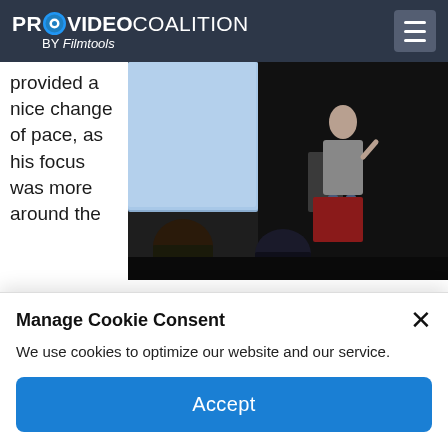PROVIDEO COALITION BY Filmtools
provided a nice change of pace, as his focus was more around the creative aspects of what these capabilities represent.
[Figure (photo): A speaker standing at a podium presenting to an audience in a conference room setting.]
During Impressions: The Global Impact of Culture, Imagery and Visual Communication, he discussed why
Manage Cookie Consent
We use cookies to optimize our website and our service.
Accept